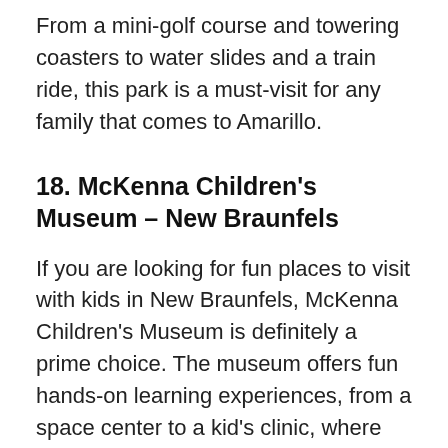From a mini-golf course and towering coasters to water slides and a train ride, this park is a must-visit for any family that comes to Amarillo.
18. McKenna Children's Museum – New Braunfels
If you are looking for fun places to visit with kids in New Braunfels, McKenna Children's Museum is definitely a prime choice. The museum offers fun hands-on learning experiences, from a space center to a kid's clinic, where children can imagine they're doctors in a hospital.